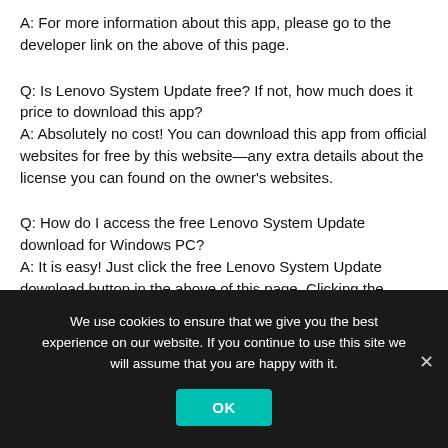A: For more information about this app, please go to the developer link on the above of this page.
Q: Is Lenovo System Update free? If not, how much does it price to download this app?
A: Absolutely no cost! You can download this app from official websites for free by this website—any extra details about the license you can found on the owner's websites.
Q: How do I access the free Lenovo System Update download for Windows PC?
A: It is easy! Just click the free Lenovo System Update download button in the above of this page. Clicking the download button will start the installer to download Lenovo System Update free for a PC/laptop.
We use cookies to ensure that we give you the best experience on our website. If you continue to use this site we will assume that you are happy with it.